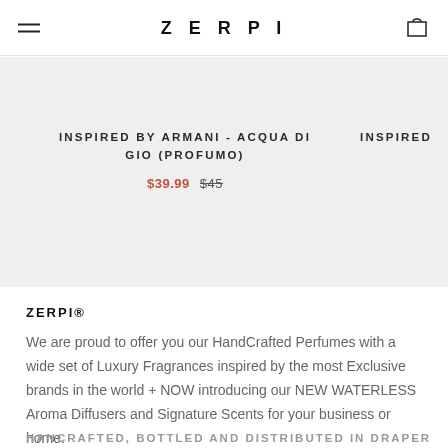ZERPI
INSPIRED BY ARMANI - ACQUA DI GIO (PROFUMO)
$39.99  $45
INSPIRED
ZERPI®
We are proud to offer you our HandCrafted Perfumes with a wide set of Luxury Fragrances inspired by the most Exclusive brands in the world + NOW introducing our NEW WATERLESS Aroma Diffusers and Signature Scents for your business or home.
HANCRAFTED, BOTTLED AND DISTRIBUTED IN DRAPER